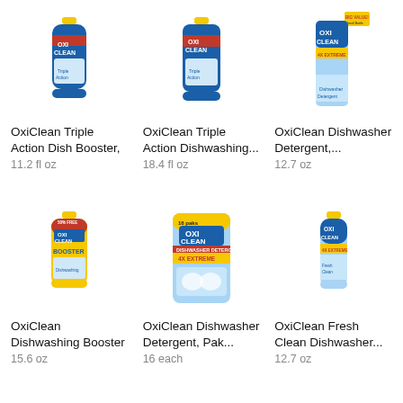[Figure (photo): OxiClean Triple Action Dish Booster bottle, blue with yellow cap, 11.2 fl oz]
OxiClean Triple Action Dish Booster,
11.2 fl oz
[Figure (photo): OxiClean Triple Action Dishwashing bottle, blue with yellow cap, 18.4 fl oz]
OxiClean Triple Action Dishwashing...
18.4 fl oz
[Figure (photo): OxiClean Dishwasher Detergent package, blue and yellow, 12.7 oz]
OxiClean Dishwasher Detergent,...
12.7 oz
[Figure (photo): OxiClean Dishwashing Booster bottle, blue and yellow, 15.6 oz]
OxiClean Dishwashing Booster
15.6 oz
[Figure (photo): OxiClean Dishwasher Detergent Paks bag, blue with yellow, 16 each]
OxiClean Dishwasher Detergent, Pak...
16 each
[Figure (photo): OxiClean Fresh Clean Dishwasher bottle, blue and yellow, 12.7 oz]
OxiClean Fresh Clean Dishwasher...
12.7 oz